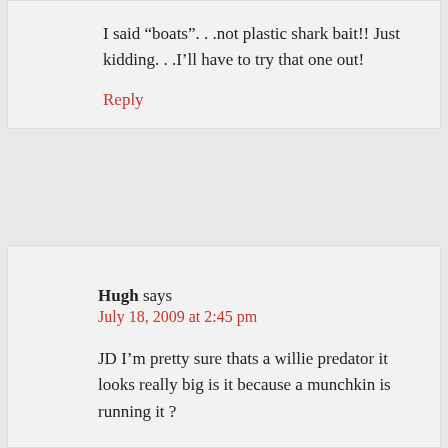I said “boats”…not plastic shark bait!! Just kidding…I’ll have to try that one out!
Reply
Hugh says
July 18, 2009 at 2:45 pm
JD I’m pretty sure thats a willie predator it looks really big is it because a munchkin is running it ?
Reply